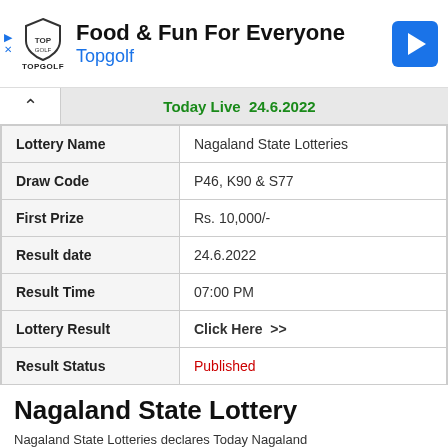[Figure (logo): Topgolf advertisement banner with shield logo, text 'Food & Fun For Everyone', 'Topgolf' in blue, and a blue navigation arrow icon on the right.]
Today Live  24.6.2022
| Lottery Name | Nagaland State Lotteries |
| Draw Code | P46, K90 & S77 |
| First Prize | Rs. 10,000/- |
| Result date | 24.6.2022 |
| Result Time | 07:00 PM |
| Lottery Result | Click Here  >> |
| Result Status | Published |
Nagaland State Lottery
Nagaland State Lotteries declares Today Nagaland